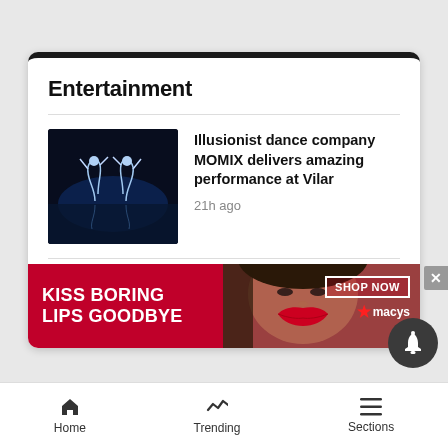Entertainment
Illusionist dance company MOMIX delivers amazing performance at Vilar
21h ago
Vail Jazz Workshop alumnus Ryan Porter: 'The music chose me'
22h ago
[Figure (screenshot): Advertisement banner: KISS BORING LIPS GOODBYE - SHOP NOW - macys]
Home  Trending  Sections